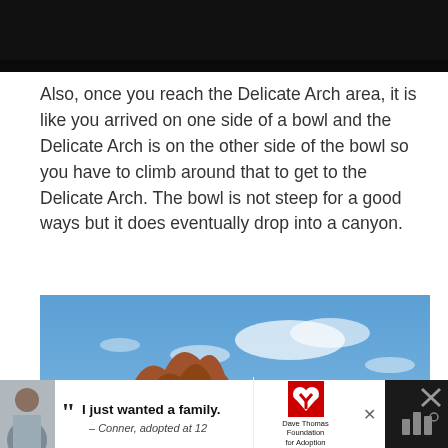[Figure (photo): Dark/black image at the top of the page, appears to be a partially visible photo]
Also, once you reach the Delicate Arch area, it is like you arrived on one side of a bowl and the Delicate Arch is on the other side of the bowl so you have to climb around that to get to the Delicate Arch. The bowl is not steep for a good ways but it does eventually drop into a canyon.
[Figure (photo): Photo of red rock formations (sandstone) against a blue sky with scattered clouds; a hiker with a green backpack stands among the rocks]
[Figure (photo): Advertisement banner: Dave Thomas Foundation for Adoption. Shows a boy named Conner. Quote: 'I just wanted a family. — Conner, adopted at 12']